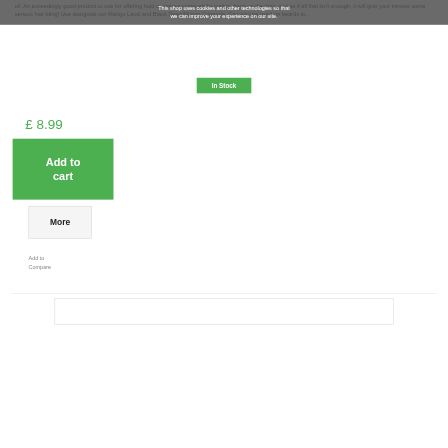oil. An exceedingly good product to use for offering hold to various styles whilst cutting down on the frizz, and as if all that isn't enough, it will give your tresses some serious hair bling! Use alongside our Mango Lassi and Black Seed Mango Compote. Can also be used on beards to...
This shop uses cookies and other technologies so that we can improve your experience on our site.
In Stock
£ 8.99
Add to cart
More
Add to Compare